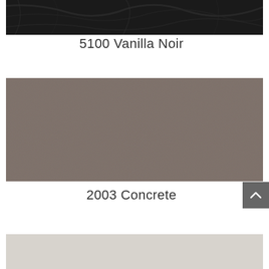[Figure (photo): Dark black marble/stone texture swatch, cropped at top]
5100 Vanilla Noir
[Figure (photo): Solid warm grey/taupe flat color swatch labeled 2003 Concrete]
2003 Concrete
[Figure (photo): Light off-white/cream flat color swatch, partially visible at bottom of page]
[Figure (illustration): Scroll-to-top button, dark grey rounded rectangle with white upward chevron arrow]